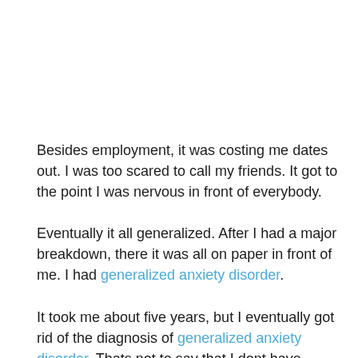Besides employment, it was costing me dates out. I was too scared to call my friends. It got to the point I was nervous in front of everybody.
Eventually it all generalized. After I had a major breakdown, there it was all on paper in front of me. I had generalized anxiety disorder.
It took me about five years, but I eventually got rid of the diagnosis of generalized anxiety disorder. Thats not to say that I dont have anxiety. That is to say that it doesnt control